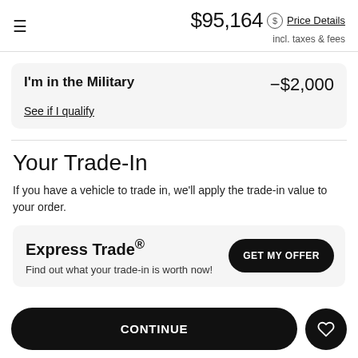$95,164 incl. taxes & fees — Price Details
I'm in the Military — −$2,000
See if I qualify
Your Trade-In
If you have a vehicle to trade in, we'll apply the trade-in value to your order.
Express Trade® — GET MY OFFER
Find out what your trade-in is worth now!
CONTINUE